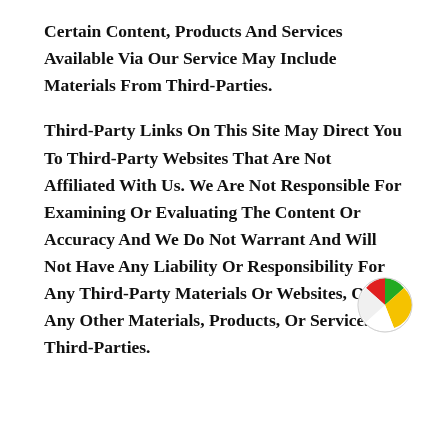Certain Content, Products And Services Available Via Our Service May Include Materials From Third-Parties.
Third-Party Links On This Site May Direct You To Third-Party Websites That Are Not Affiliated With Us. We Are Not Responsible For Examining Or Evaluating The Content Or Accuracy And We Do Not Warrant And Will Not Have Any Liability Or Responsibility For Any Third-Party Materials Or Websites, Or For Any Other Materials, Products, Or Services Of Third-Parties.
[Figure (illustration): Beach ball emoji illustration — yellow, red, green, and white segments]